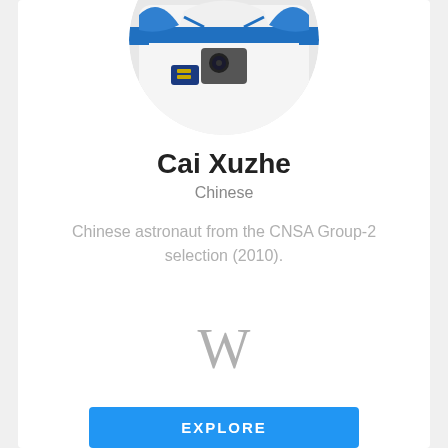[Figure (photo): Circular cropped photo of Cai Xuzhe in a Chinese space suit, white with blue accents and Chinese markings, partially cut off at top]
Cai Xuzhe
Chinese
Chinese astronaut from the CNSA Group-2 selection (2010).
[Figure (logo): Wikipedia 'W' logo in gray]
EXPLORE